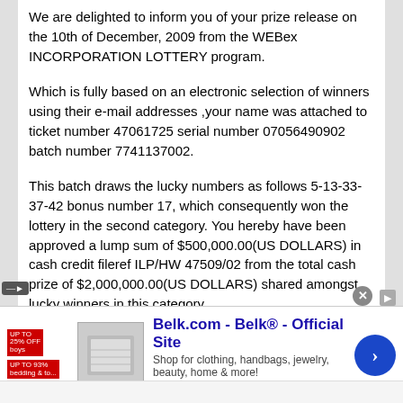We are delighted to inform you of your prize release on the 10th of December, 2009 from the WEBex INCORPORATION LOTTERY program.
Which is fully based on an electronic selection of winners using their e-mail addresses ,your name was attached to ticket number 47061725 serial number 07056490902 batch number 7741137002.
This batch draws the lucky numbers as follows 5-13-33-37-42 bonus number 17, which consequently won the lottery in the second category. You hereby have been approved a lump sum of $500,000.00(US DOLLARS) in cash credit fileref ILP/HW 47509/02 from the total cash prize of $2,000,000.00(US DOLLARS) shared amongst lucky winners in this category.
All participant were selected through a computer balloting system drawn from Nine hundred thousand E-mail addresses from Canada,Australia, United state, Europe, Middle East, Africa and
[Figure (other): Advertisement banner for Belk.com - Belk Official Site. Shows Belk logo, product image, text 'Shop for clothing, handbags, jewelry, beauty, home & more!' and www.belk.com URL with a blue circular arrow button.]